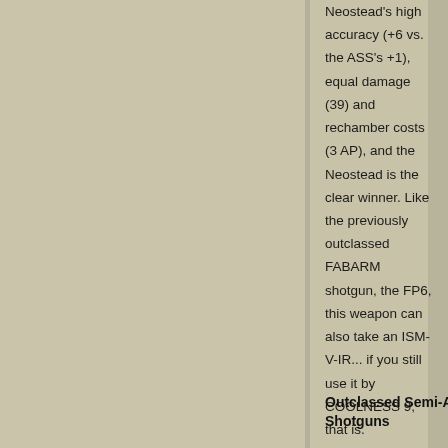Neostead's high accuracy (+6 vs. the ASS's +1), equal damage (39) and rechamber costs (3 AP), and the Neostead is the clear winner. Like the previously outclassed FABARM shotgun, the FP6, this weapon can also take an ISM-V-IR... if you still use it by COOLNESS 9, that is.
Outclassed Semi-Auto Shotguns